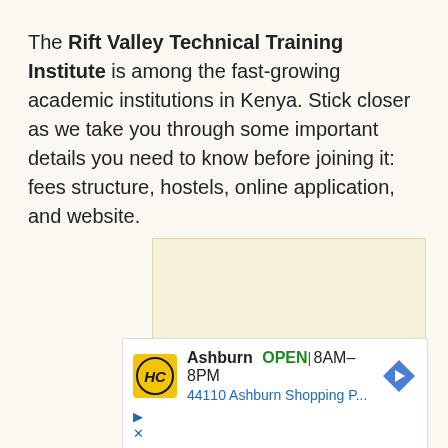The Rift Valley Technical Training Institute is among the fast-growing academic institutions in Kenya. Stick closer as we take you through some important details you need to know before joining it: fees structure, hostels, online application, and website.
[Figure (other): Advertisement placeholder area with light beige background]
[Figure (other): Advertisement banner showing HC logo, Ashburn location, OPEN 8AM-8PM, 44110 Ashburn Shopping P...]